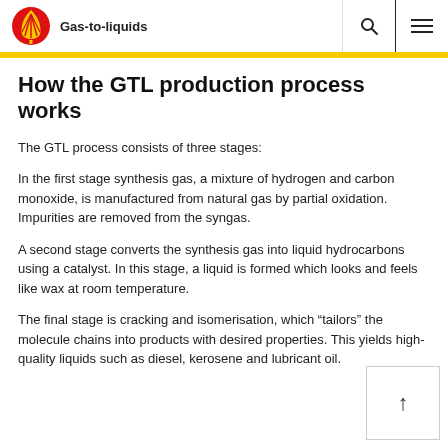Gas-to-liquids
How the GTL production process works
The GTL process consists of three stages:
In the first stage synthesis gas, a mixture of hydrogen and carbon monoxide, is manufactured from natural gas by partial oxidation. Impurities are removed from the syngas.
A second stage converts the synthesis gas into liquid hydrocarbons using a catalyst. In this stage, a liquid is formed which looks and feels like wax at room temperature.
The final stage is cracking and isomerisation, which “tailors” the molecule chains into products with desired properties. This yields high-quality liquids such as diesel, kerosene and lubricant oil.